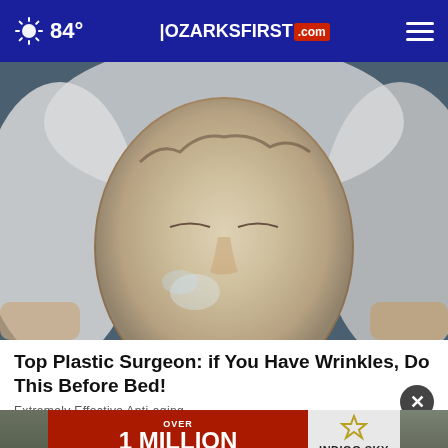84° | OZARKSFIRST.com
[Figure (photo): A woman receiving a facial treatment or skin care procedure, eyes closed, face appears to have a gel or cream mask applied, lying back with white towels around her head.]
Top Plastic Surgeon: if You Have Wrinkles, Do This Before Bed!
Extremely Effective Anti-aging
[Figure (infographic): Advertisement banner: red background with text 'OVER 1 MILLION TOTAL CASH & OD REWARDS PRIZES WILL GO!' next to Indigo Sky Casino & Resort logo with star graphic.]